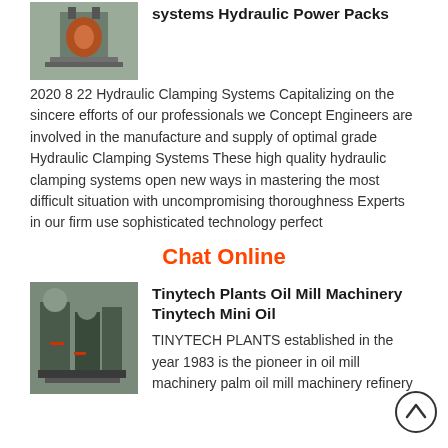[Figure (photo): Industrial hydraulic clamping system machinery photo]
systems Hydraulic Power Packs
2020 8 22 Hydraulic Clamping Systems Capitalizing on the sincere efforts of our professionals we Concept Engineers are involved in the manufacture and supply of optimal grade Hydraulic Clamping Systems These high quality hydraulic clamping systems open new ways in mastering the most difficult situation with uncompromising thoroughness Experts in our firm use sophisticated technology perfect
Chat Online
[Figure (photo): Tinytech oil mill machinery plant photo]
Tinytech Plants Oil Mill Machinery Tinytech Mini Oil
TINYTECH PLANTS established in the year 1983 is the pioneer in oil mill machinery palm oil mill machinery refinery